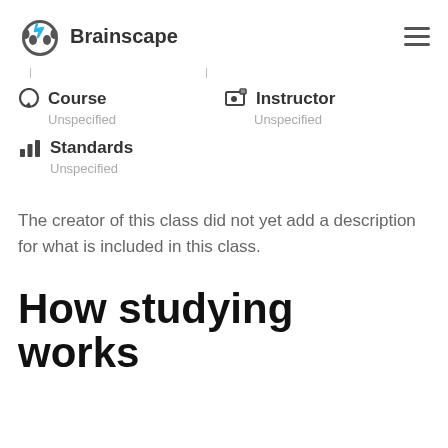Brainscape
Course
Unspecified
Instructor
Unspecified
Standards
Unspecified
The creator of this class did not yet add a description for what is included in this class.
How studying works